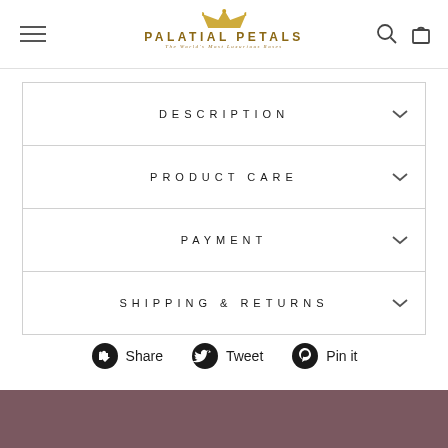PALATIAL PETALS - The World's Most Luxurious Roses
DESCRIPTION
PRODUCT CARE
PAYMENT
SHIPPING & RETURNS
Share  Tweet  Pin it